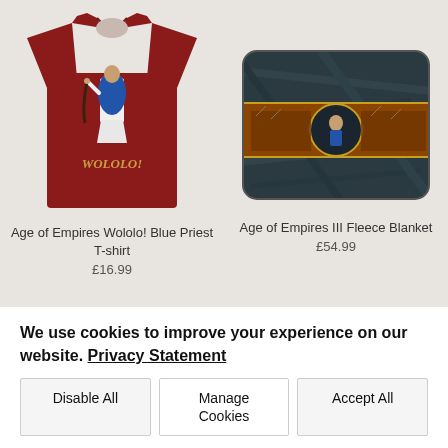[Figure (photo): Red t-shirt with 'WOLOLO!' text and a blue priest character from Age of Empires game]
Age of Empires Wololo! Blue Priest T-shirt
£16.99
[Figure (photo): Age of Empires III themed fleece blanket with dark marble background and game artwork banner]
Age of Empires III Fleece Blanket
£54.99
We use cookies to improve your experience on our website. Privacy Statement
Disable All
Manage Cookies
Accept All